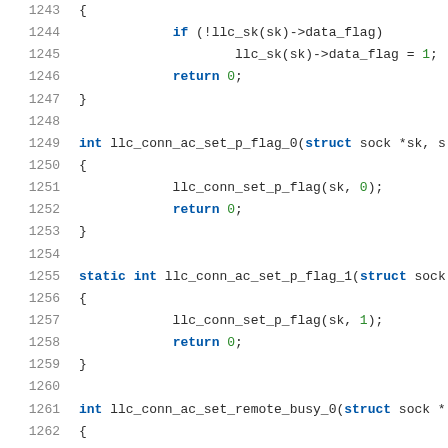Source code listing, lines 1243-1263, showing C functions llc_conn_ac_set_p_flag_0, llc_conn_ac_set_p_flag_1, and llc_conn_ac_set_remote_busy_0